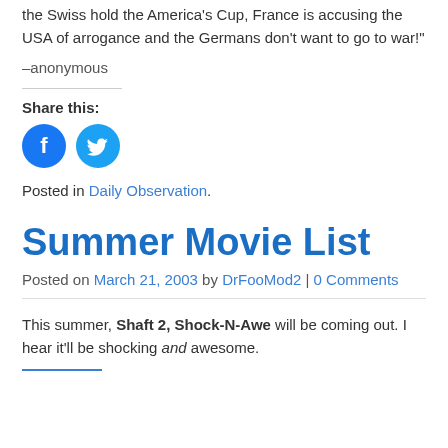the Swiss hold the America's Cup, France is accusing the USA of arrogance and the Germans don't want to go to war!"
–anonymous
Share this:
[Figure (other): Facebook and Twitter share icon buttons (blue circles with logos)]
Posted in Daily Observation.
Summer Movie List
Posted on March 21, 2003 by DrFooMod2 | 0 Comments
This summer, Shaft 2, Shock-N-Awe will be coming out. I hear it'll be shocking and awesome.